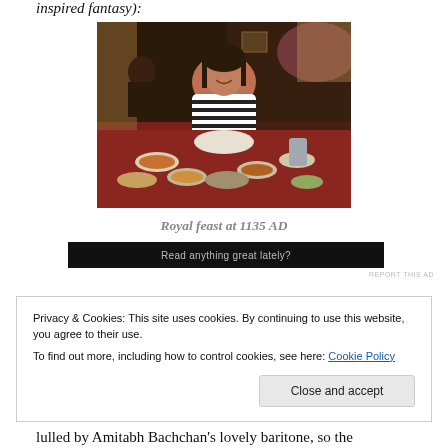inspired fantasy):
[Figure (photo): A woman in a black and white striped top sitting at a restaurant table with many dishes of food spread out in front of her. Restaurant interior visible in background.]
Royal feast at 1135 AD
[Figure (screenshot): Advertisement bar with text 'Read anything great lately?' on a dark background with 'REPORT THIS AD' label.]
Privacy & Cookies: This site uses cookies. By continuing to use this website, you agree to their use.
To find out more, including how to control cookies, see here: Cookie Policy
lulled by Amitabh Bachchan's lovely baritone, so the